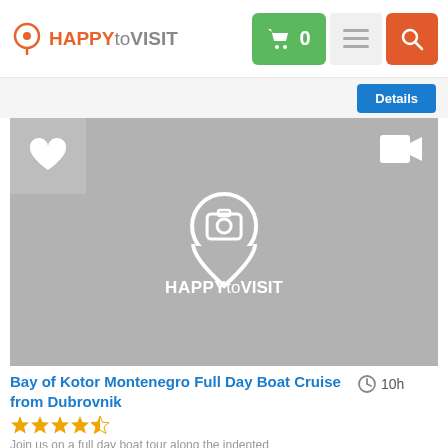HAPPYtoVISIT
[Figure (screenshot): HAPPYtoVISIT website screenshot showing a tour listing page with placeholder image, heart/favorite button, video icon, and HAPPYtoVISIT branding watermark in center of image]
Bay of Kotor Montenegro Full Day Boat Cruise from Dubrovnik
10h
Join us on a full day boat tour along the indented